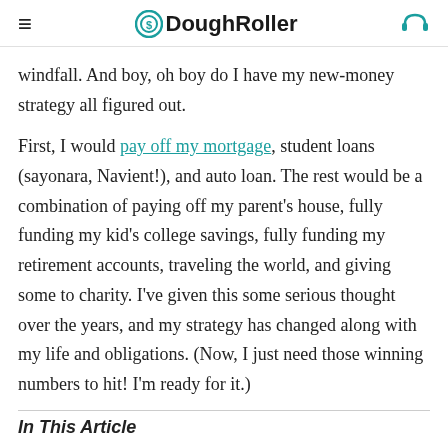≡ DoughRoller 🎧
windfall. And boy, oh boy do I have my new-money strategy all figured out.
First, I would pay off my mortgage, student loans (sayonara, Navient!), and auto loan. The rest would be a combination of paying off my parent's house, fully funding my kid's college savings, fully funding my retirement accounts, traveling the world, and giving some to charity. I've given this some serious thought over the years, and my strategy has changed along with my life and obligations. (Now, I just need those winning numbers to hit! I'm ready for it.)
In This Article